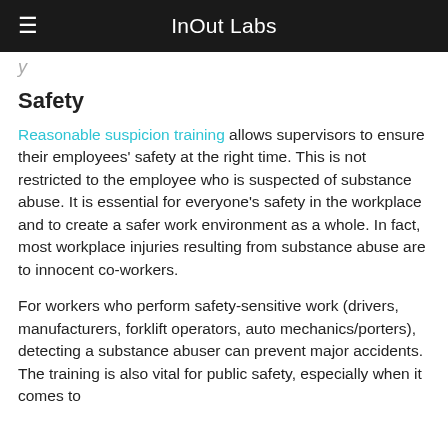InOut Labs
y
Safety
Reasonable suspicion training allows supervisors to ensure their employees' safety at the right time. This is not restricted to the employee who is suspected of substance abuse. It is essential for everyone's safety in the workplace and to create a safer work environment as a whole. In fact, most workplace injuries resulting from substance abuse are to innocent co-workers.
For workers who perform safety-sensitive work (drivers, manufacturers, forklift operators, auto mechanics/porters), detecting a substance abuser can prevent major accidents. The training is also vital for public safety, especially when it comes to